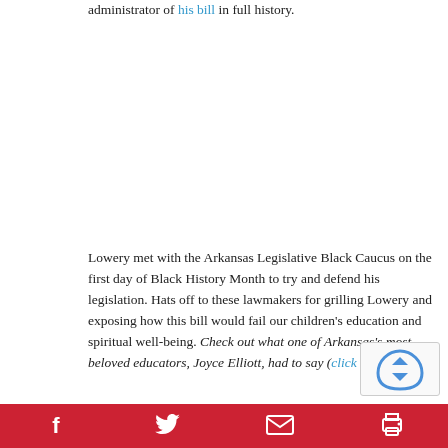administrator of his bill in full history.
Lowery met with the Arkansas Legislative Black Caucus on the first day of Black History Month to try and defend his legislation. Hats off to these lawmakers for grilling Lowery and exposing how this bill would fail our children's education and spiritual well-being. Check out what one of Arkansas's most beloved educators, Joyce Elliott, had to say (click here).
Reproductive Health Rights // Banning Abortion & Forced Ultrasounds
Senate Bill 6 and Senate Bill 85 are the next looming threats to Reproductive Health Rights in Arkansas. SB6 by Sen. Jason Rapert (R-Bigelow) see…
f  [twitter]  [mail]  [print]